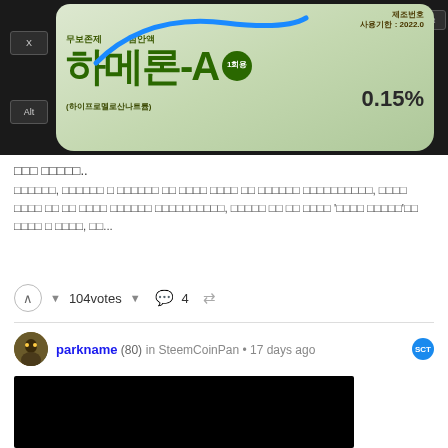[Figure (photo): Photo of a Korean eye drop package 하메론-A 0.15% with a blue hand-drawn curve annotation, set against a dark keyboard background]
□□□ □□□□□..
□□□□□□, □□□□□□ □ □□□□□□ □□ □□□□ □□□□ □□ □□□□□□ □□□□□□□□□□, □□□□ □□□□ □□ □□ □□□□ □□□□□□ □□□□□□□□□□, □□□□□ □□ □□ □□□□ '□□□□ □□□□□'□□ □□□□ □ □□□□, □□...
104votes ▼  💬 4
parkname (80) in SteemCoinPan • 17 days ago
[Figure (photo): Black image / video thumbnail]